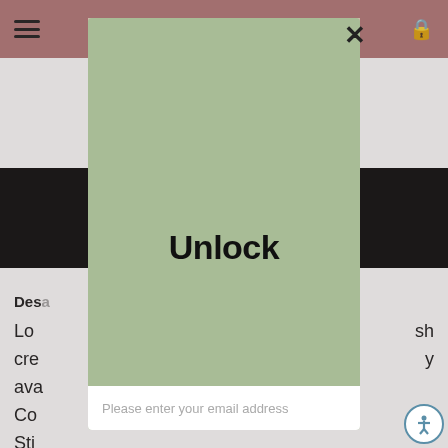Navigation bar with hamburger menu and lock icon
[Figure (photo): Colorful makeup eyeshadow palettes arranged diagonally, showing various colors including pink, purple, green, teal, brown and neutral shades. Brands visible include what appears to be Colour Pop.]
Des... (Description - partially obscured)
Lo... (partially obscured body text about product description including mentions of: sh, cre..., y, ava..., Co..., Sti...)
Ingr... (Ingredients - partially obscured)
Oc..., Ca..., Wa... (partially obscured ingredients list)
[Figure (screenshot): Modal popup overlay with sage/olive green background containing the bold text 'Unlock' in the center, an X close button at top right, and an email input field with placeholder text 'Please enter your email address' at the bottom of the modal.]
Unlock
Please enter your email address